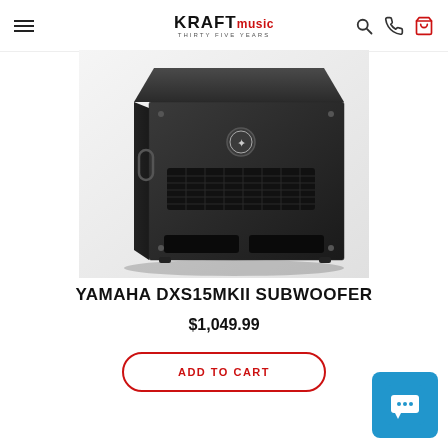Kraft Music - Thirty Five Years
[Figure (photo): Yamaha DXS15MKII powered subwoofer speaker cabinet, black finish, angled front view showing the grille, ports at the bottom, and Yamaha logo badge on front.]
YAMAHA DXS15MKII SUBWOOFER
$1,049.99
ADD TO CART